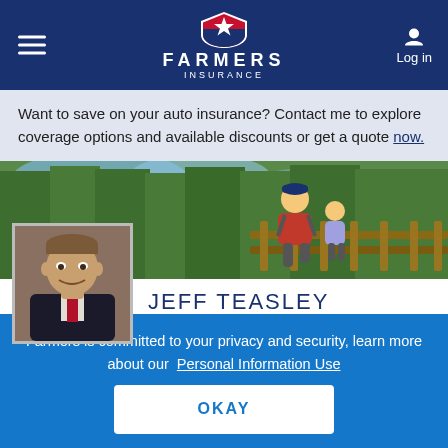Farmers Insurance — Log in
Want to save on your auto insurance? Contact me to explore coverage options and available discounts or get a quote now.
[Figure (photo): Outdoor hero image showing a man in red shirt running on a wooden bridge with trees in background]
[Figure (photo): Headshot of Jeff Teasley, a man in a dark blazer smiling]
JEFF TEASLEY
[Figure (logo): Presidents Council badge with laurel wreath and P emblem]
Farmers Life Insurance Agent in Cheyenne, WY
Farmers is committed to your privacy and security, learn more about our Personal Information Use
OKAY